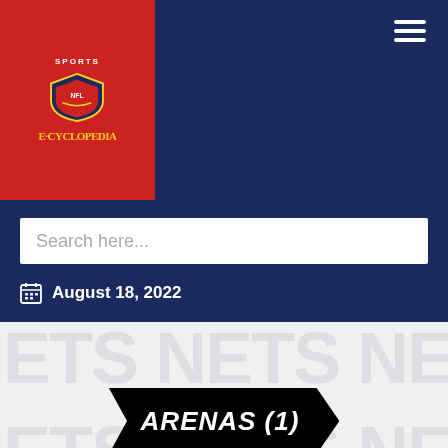[Figure (logo): Sports E-Cyclopedia logo on red background with shield emblem]
Search here...
August 18, 2022
ARENAS (1)
Barclays Center 2012/13-Present